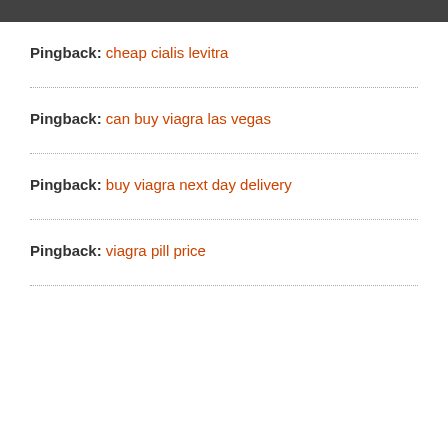Pingback: cheap cialis levitra
Pingback: can buy viagra las vegas
Pingback: buy viagra next day delivery
Pingback: viagra pill price